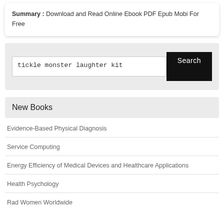Summary : Download and Read Online Ebook PDF Epub Mobi For Free
[Figure (screenshot): Search box with text 'tickle monster laughter kit' and a black Search button]
New Books
Evidence-Based Physical Diagnosis
Service Computing
Energy Efficiency of Medical Devices and Healthcare Applications
Health Psychology
Rad Women Worldwide